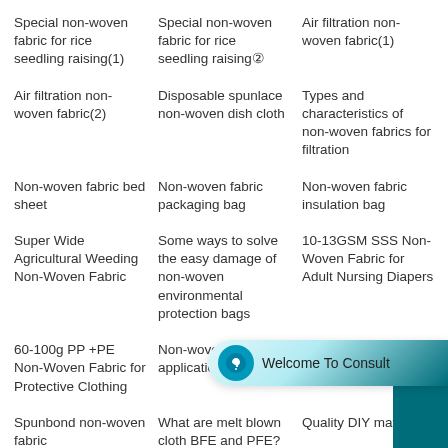Special non-woven fabric for rice seedling raising(1)
Special non-woven fabric for rice seedling raising②
Air filtration non-woven fabric(1)
Air filtration non-woven fabric(2)
Disposable spunlace non-woven dish cloth
Types and characteristics of non-woven fabrics for filtration
Non-woven fabric bed sheet
Non-woven fabric packaging bag
Non-woven fabric insulation bag
Super Wide Agricultural Weeding Non-Woven Fabric
Some ways to solve the easy damage of non-woven environmental protection bags
10-13GSM SSS Non-Woven Fabric for Adult Nursing Diapers
60-100g PP +PE Non-Woven Fabric for Protective Clothing
Non-woven application
Non-woven printing
Spunbond non-woven fabric
What are melt blown cloth BFE and PFE?
Quality DIY materials